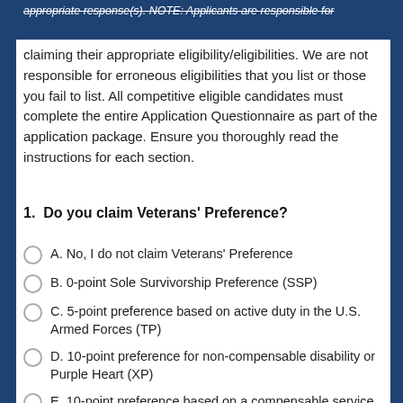appropriate response(s). NOTE: Applicants are responsible for claiming their appropriate eligibility/eligibilities. We are not responsible for erroneous eligibilities that you list or those you fail to list. All competitive eligible candidates must complete the entire Application Questionnaire as part of the application package. Ensure you thoroughly read the instructions for each section.
claiming their appropriate eligibility/eligibilities. We are not responsible for erroneous eligibilities that you list or those you fail to list. All competitive eligible candidates must complete the entire Application Questionnaire as part of the application package. Ensure you thoroughly read the instructions for each section.
1. Do you claim Veterans' Preference?
A. No, I do not claim Veterans' Preference
B. 0-point Sole Survivorship Preference (SSP)
C. 5-point preference based on active duty in the U.S. Armed Forces (TP)
D. 10-point preference for non-compensable disability or Purple Heart (XP)
E. 10-point preference based on a compensable service connected disability of at least 10% but less than 30% (CP)
F. 10 point preference based on widow/widower or parent of a deceased veteran, or as a spouse or parent of a disabled veteran